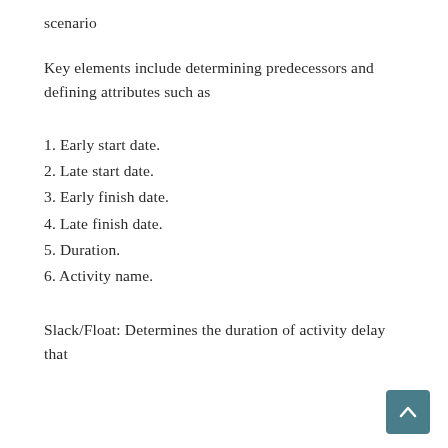scenario
Key elements include determining predecessors and defining attributes such as
1. Early start date.
2. Late start date.
3. Early finish date.
4. Late finish date.
5. Duration.
6. Activity name.
Slack/Float: Determines the duration of activity delay that